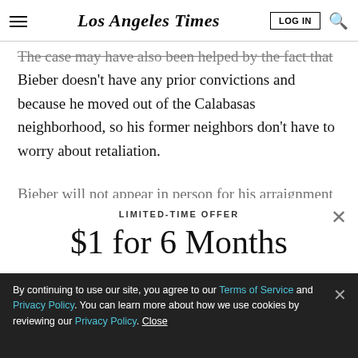Los Angeles Times
The case may have also been helped by the fact that Bieber doesn’t have any prior convictions and because he moved out of the Calabasas neighborhood, so his former neighbors don’t have to worry about retaliation.
Bieber will not appear in person for his arraignment
LIMITED-TIME OFFER
$1 for 6 Months
SUBSCRIBE NOW
By continuing to use our site, you agree to our Terms of Service and Privacy Policy. You can learn more about how we use cookies by reviewing our Privacy Policy. Close